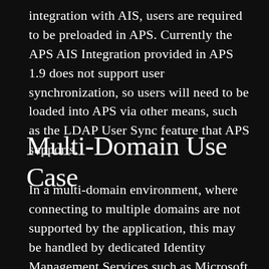integration with AIS, users are required to be preloaded in APS. Currently the APS AIS Integration provided in APS 1.9 does not support user synchronization, so users will need to be loaded into APS via other means, such as the LDAP User Sync feature that APS supports.
Multi-Domain Use Case
In a multi-domain environment, where connecting to multiple domains are not supported by the application, this may be handled by dedicated Identity Management Services such as Microsoft Identity Manager,